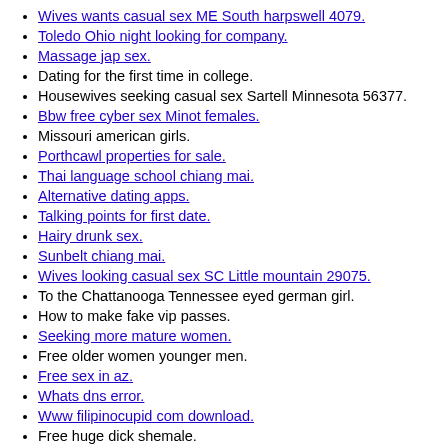Wives wants casual sex ME South harpswell 4079.
Toledo Ohio night looking for company.
Massage jap sex.
Dating for the first time in college.
Housewives seeking casual sex Sartell Minnesota 56377.
Bbw free cyber sex Minot females.
Missouri american girls.
Porthcawl properties for sale.
Thai language school chiang mai.
Alternative dating apps.
Talking points for first date.
Hairy drunk sex.
Sunbelt chiang mai.
Wives looking casual sex SC Little mountain 29075.
To the Chattanooga Tennessee eyed german girl.
How to make fake vip passes.
Seeking more mature women.
Free older women younger men.
Free sex in az.
Whats dns error.
Www filipinocupid com download.
Free huge dick shemale.
Find Erotic Love In Stockton, California